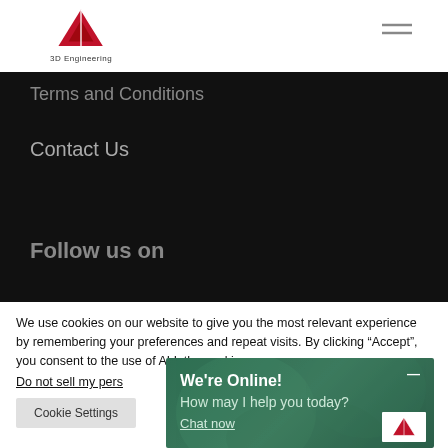[Figure (logo): 3D Engineering red triangle logo with company name below]
[Figure (illustration): Hamburger menu icon (three horizontal lines)]
Terms and Conditions
Contact Us
Follow us on
We use cookies on our website to give you the most relevant experience by remembering your preferences and repeat visits. By clicking “Accept”, you consent to the use of ALL the cookies
Do not sell my pers
Cookie Settings
We're Online!
How may I help you today?
Chat now